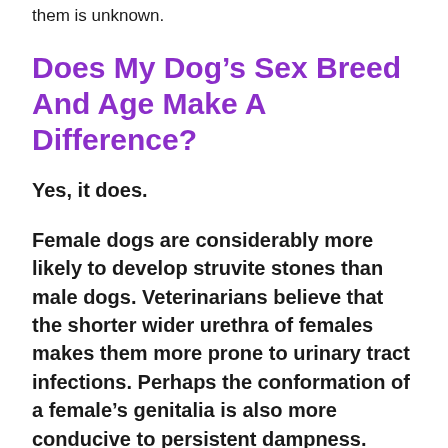them is unknown.
Does My Dog’s Sex Breed And Age Make A Difference?
Yes, it does.
Female dogs are considerably more likely to develop struvite stones than male dogs. Veterinarians believe that the shorter wider urethra of females makes them more prone to urinary tract infections. Perhaps the conformation of a female’s genitalia is also more conducive to persistent dampness. Female dogs have more than double the chance of developing a urinary tract stone problem. It is also quite common for female